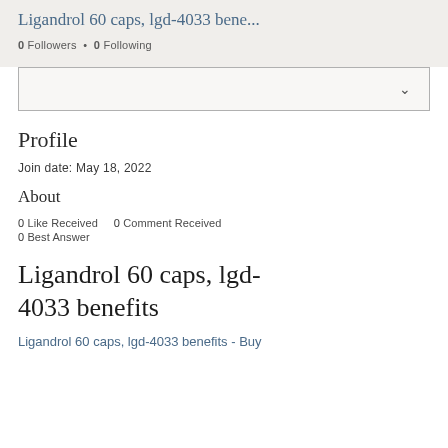Ligandrol 60 caps, lgd-4033 bene...
0 Followers • 0 Following
Profile
Join date: May 18, 2022
About
0 Like Received   0 Comment Received
0 Best Answer
Ligandrol 60 caps, lgd-4033 benefits
Ligandrol 60 caps, lgd-4033 benefits - Buy...